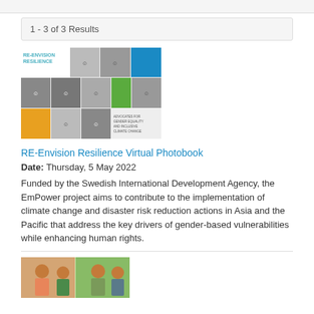1 - 3 of 3 Results
[Figure (photo): RE-Envision Resilience Virtual Photobook cover image showing a grid of black and white portrait photos with colored squares (blue, green, orange) and text 'REENVISION RESILIENCE' and 'ADVOCATES FOR GENDER EQUALITY AND INCLUSIVE CLIMATE CHANGE']
RE-Envision Resilience Virtual Photobook
Date: Thursday, 5 May 2022
Funded by the Swedish International Development Agency, the EmPower project aims to contribute to the implementation of climate change and disaster risk reduction actions in Asia and the Pacific that address the key drivers of gender-based vulnerabilities while enhancing human rights.
[Figure (photo): Partial thumbnail image showing women in colorful clothing, partially visible at bottom of page]